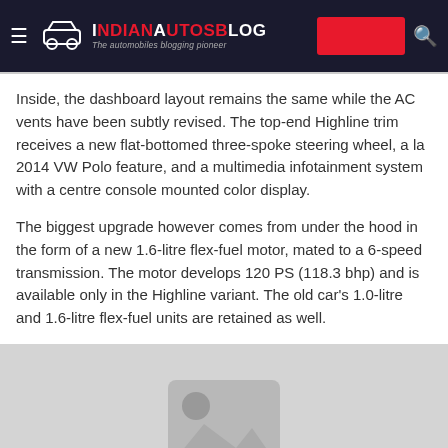IndianAutosBlog — The automobiles blogging pioneer
Inside, the dashboard layout remains the same while the AC vents have been subtly revised. The top-end Highline trim receives a new flat-bottomed three-spoke steering wheel, a la 2014 VW Polo feature, and a multimedia infotainment system with a centre console mounted color display.
The biggest upgrade however comes from under the hood in the form of a new 1.6-litre flex-fuel motor, mated to a 6-speed transmission. The motor develops 120 PS (118.3 bhp) and is available only in the Highline variant. The old car's 1.0-litre and 1.6-litre flex-fuel units are retained as well.
[Figure (photo): Image placeholder with grey background showing a generic image icon with a rounded rectangle, a circle in the upper-left area, and a mountain/landscape shape at the bottom.]